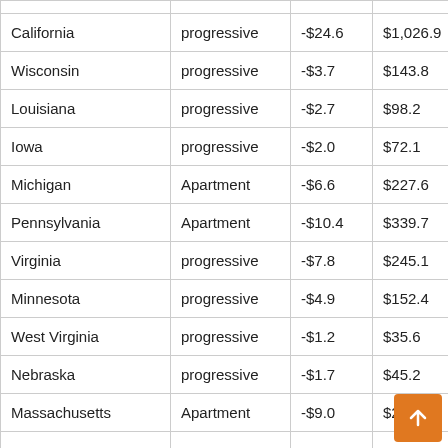| State | Type | Col3 | Col4 | Col5 |
| --- | --- | --- | --- | --- |
| California | progressive | -$24.6 | $1,026.9 | -2.4 |
| Wisconsin | progressive | -$3.7 | $143.8 | -2.6 |
| Louisiana | progressive | -$2.7 | $98.2 | -2.7 |
| Iowa | progressive | -$2.0 | $72.1 | -2.8 |
| Michigan | Apartment | -$6.6 | $227.6 | -2.9 |
| Pennsylvania | Apartment | -$10.4 | $339.7 | -3.1 |
| Virginia | progressive | -$7.8 | $245.1 | -3.2 |
| Minnesota | progressive | -$4.9 | $152.4 | -3.2 |
| West Virginia | progressive | -$1.2 | $35.6 | -3.4 |
| Nebraska | progressive | -$1.7 | $45.2 | -3.9 |
| Massachusetts | Apartment | -$9.0 | $233.5 | -3.9 |